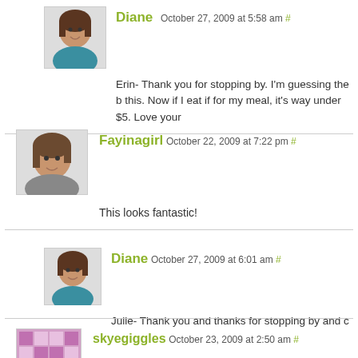[Figure (photo): Avatar photo of Diane, a woman with dark hair]
Diane October 27, 2009 at 5:58 am #
Erin- Thank you for stopping by. I'm guessing the b this. Now if I eat if for my meal, it's way under $5. Love your
[Figure (photo): Avatar photo of Fayinagirl, a woman with dark hair]
Fayinagirl October 22, 2009 at 7:22 pm #
This looks fantastic!
[Figure (photo): Avatar photo of Diane, a woman with dark hair]
Diane October 27, 2009 at 6:01 am #
Julie- Thank you and thanks for stopping by and c
[Figure (photo): Avatar of skyegiggles, a decorative pattern icon]
skyegiggles October 23, 2009 at 2:50 am #